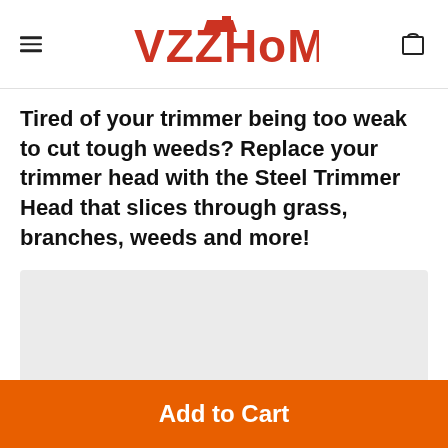VZZHome
Tired of your trimmer being too weak to cut tough weeds? Replace your trimmer head with the Steel Trimmer Head that slices through grass, branches, weeds and more!
[Figure (photo): Product image placeholder — light gray rectangle representing a product photo]
Add to Cart